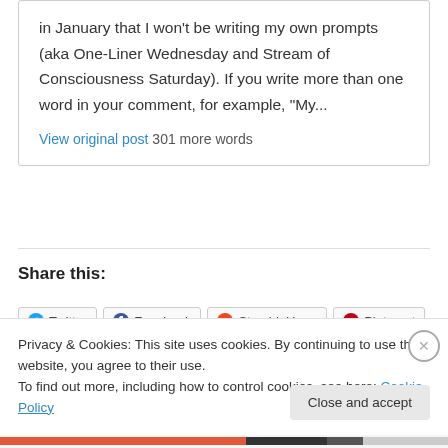in January that I won't be writing my own prompts (aka One-Liner Wednesday and Stream of Consciousness Saturday).  If you write more than one word in your comment, for example, “My…
View original post 301 more words
Share this:
Twitter Facebook StumbleUpon Pinterest
Privacy & Cookies: This site uses cookies. By continuing to use this website, you agree to their use.
To find out more, including how to control cookies, see here: Cookie Policy
Close and accept